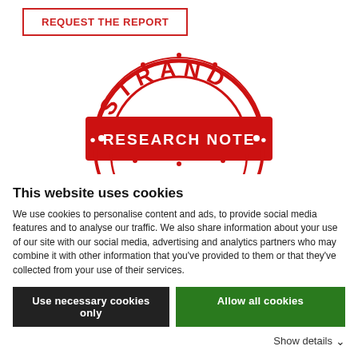REQUEST THE REPORT
[Figure (logo): Strand Research Note stamp logo — a circular red stamp design with 'STRAND' text at top in an arc, and a red rectangular banner reading '• RESEARCH NOTE •' across the center]
This website uses cookies
We use cookies to personalise content and ads, to provide social media features and to analyse our traffic. We also share information about your use of our site with our social media, advertising and analytics partners who may combine it with other information that you've provided to them or that they've collected from your use of their services.
Use necessary cookies only
Allow all cookies
Show details